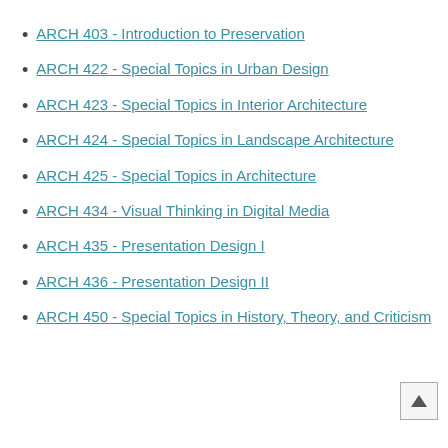ARCH 403 - Introduction to Preservation
ARCH 422 - Special Topics in Urban Design
ARCH 423 - Special Topics in Interior Architecture
ARCH 424 - Special Topics in Landscape Architecture
ARCH 425 - Special Topics in Architecture
ARCH 434 - Visual Thinking in Digital Media
ARCH 435 - Presentation Design I
ARCH 436 - Presentation Design II
ARCH 450 - Special Topics in History, Theory, and Criticism